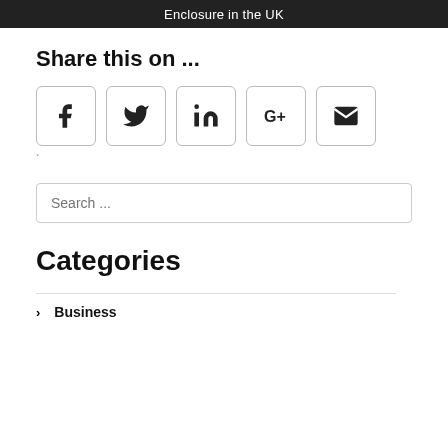Enclosure in the UK
Share this on ...
[Figure (infographic): Row of five social media share buttons: Facebook (f), Twitter (bird), LinkedIn (in), Google+ (G+), Email (envelope icon)]
`
Search ...
Categories
Business